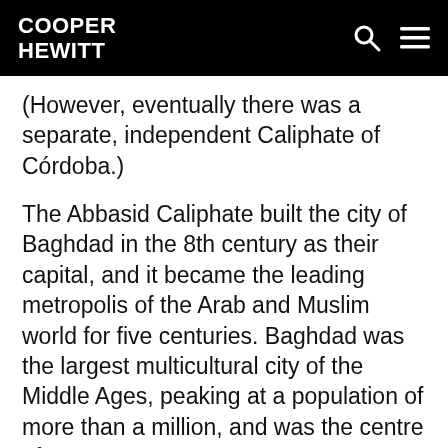COOPER HEWITT
(However, eventually there was a separate, independent Caliphate of Córdoba.)
The Abbasid Caliphate built the city of Baghdad in the 8th century as their capital, and it became the leading metropolis of the Arab and Muslim world for five centuries. Baghdad was the largest multicultural city of the Middle Ages, peaking at a population of more than a million, and was the centre of